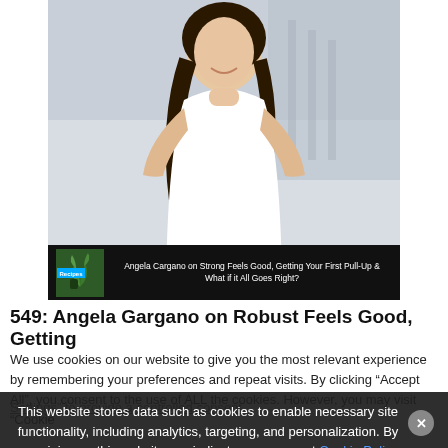[Figure (photo): Photo of Angela Cargano, a athletic woman with long dark hair, wearing a white sports bra, smiling outdoors with stairs/architecture in background]
[Figure (screenshot): Podcast episode bar with green logo, Recipes badge in blue, text reading: Angela Cargano on Strong Feels Good, Getting Your First Pull-Up & What if it All Goes Right?]
549: Angela Gargano on Robust Feels Good, Getting
We use cookies on our website to give you the most relevant experience by remembering your preferences and repeat visits. By clicking “Accept All”, you consent to the use of ALL the cookies. However, you may visit “Cookie Settings” to provide a controlled consent
This website stores data such as cookies to enable necessary site functionality, including analytics, targeting, and personalization. By remaining on this website you indicate your consent Cookie Policy